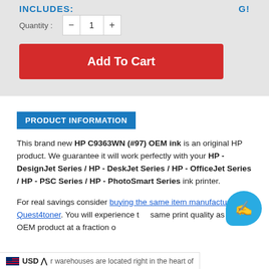INCLUDES ... Quantity : - 1 +
Add To Cart
PRODUCT INFORMATION
This brand new HP C9363WN (#97) OEM ink is an original HP product. We guarantee it will work perfectly with your HP - DesignJet Series / HP - DeskJet Series / HP - OfficeJet Series / HP - PSC Series / HP - PhotoSmart Series ink printer.
For real savings consider buying the same item manufactured by Quest4toner. You will experience the same print quality as an OEM product at a fraction of... r warehouses are located right in the heart of